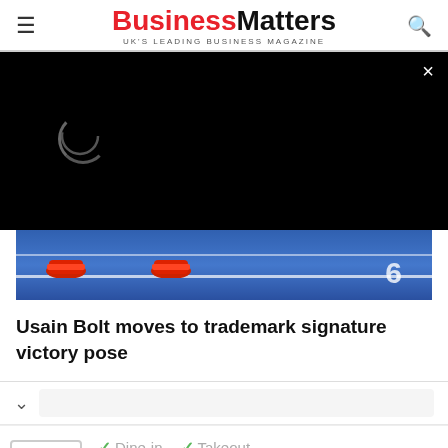BusinessMatters — UK'S LEADING BUSINESS MAGAZINE
[Figure (screenshot): Video player overlay on dark/black background with loading spinner and close (×) button in top right. Below the video overlay is a portion of a track-and-field photo showing red athletic shoes on a blue running track with lane lines and numbers.]
Usain Bolt moves to trademark signature victory pose
[Figure (screenshot): Mobile UI chrome: chevron/down arrow navigation bar, then advertisement bar showing sweetFrog logo, checkmark features (Dine-in, Takeout, Delivery), and a blue navigation/directions diamond icon.]